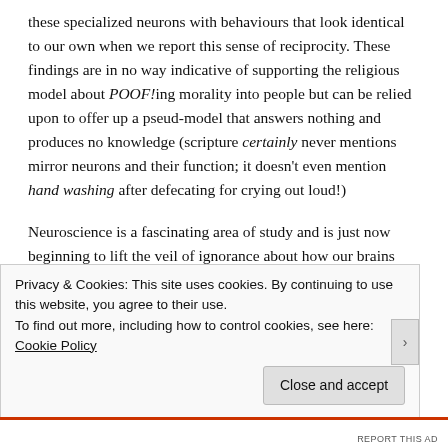these specialized neurons with behaviours that look identical to our own when we report this sense of reciprocity. These findings are in no way indicative of supporting the religious model about POOF!ing morality into people but can be relied upon to offer up a pseud-model that answers nothing and produces no knowledge (scripture certainly never mentions mirror neurons and their function; it doesn't even mention hand washing after defecating for crying out loud!)
Neuroscience is a fascinating area of study and is just now beginning to lift the veil of ignorance about how our brains work and produce emergent properties from something so simple as local units obeying local rules. When it comes to
Privacy & Cookies: This site uses cookies. By continuing to use this website, you agree to their use.
To find out more, including how to control cookies, see here: Cookie Policy
Close and accept